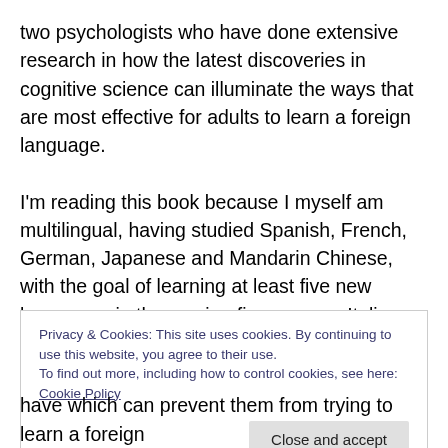two psychologists who have done extensive research in how the latest discoveries in cognitive science can illuminate the ways that are most effective for adults to learn a foreign language.
I'm reading this book because I myself am multilingual, having studied Spanish, French, German, Japanese and Mandarin Chinese, with the goal of learning at least five new languages in the coming five years:    Italian, Portuguese, Korean, Arabic and Hindi.   My problem is trying to learn new languages while maintaining or even
Privacy & Cookies: This site uses cookies. By continuing to use this website, you agree to their use.
To find out more, including how to control cookies, see here: Cookie Policy
Close and accept
have which can prevent them from trying to learn a foreign